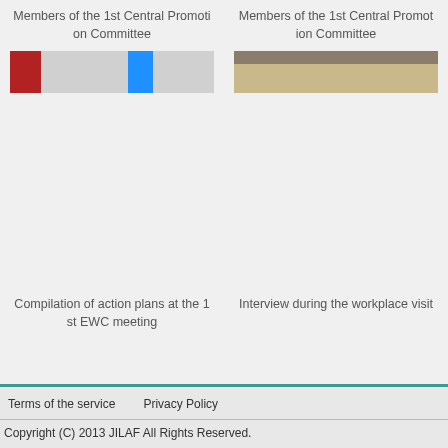Members of the 1st Central Promotion Committee
[Figure (photo): Photo of Members of the 1st Central Promotion Committee - left column image showing a banner with red and blue elements]
Members of the 1st Central Promotion Committee
[Figure (photo): Photo of Members of the 1st Central Promotion Committee - right column image showing a room interior]
Compilation of action plans at the 1st EWC meeting
Interview during the workplace visit
Terms of the service    Privacy Policy
Copyright (C) 2013 JILAF All Rights Reserved.